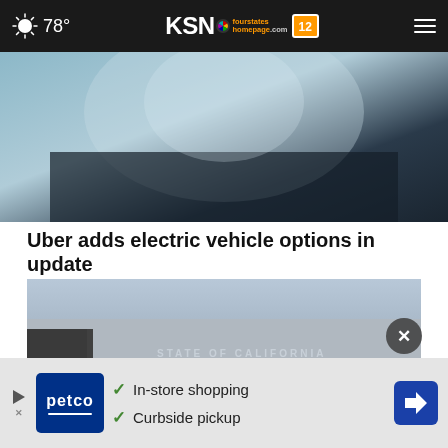78° KSN fourstates homepage.com 12
[Figure (photo): Partial top image, appears to show a dark abstract or vehicle-related photo, cropped at the top]
Uber adds electric vehicle options in update
[Figure (photo): People standing in line outside a State of California Department of Motor Vehicles building]
[Figure (other): Petco advertisement banner: In-store shopping, Curbside pickup with Petco logo and navigation arrow icon]